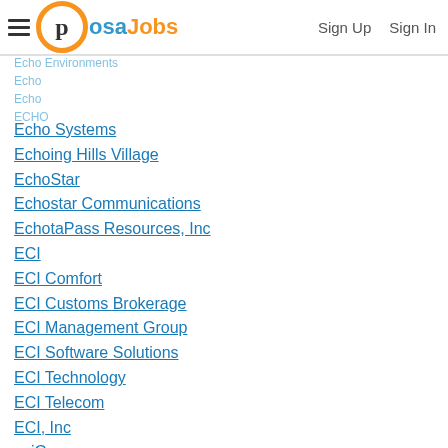PosaJobs — Sign Up | Sign In
Echo Systems
Echoing Hills Village
EchoStar
Echostar Communications
EchotaPass Resources, Inc
ECI
ECI Comfort
ECI Customs Brokerage
ECI Management Group
ECI Software Solutions
ECI Technology
ECI Telecom
ECI, Inc
eciGroup
Eck Agency Inc
Eck Refrigeration
Eck Supply Company
Eck, Schafer Punke, LLP
Eckerd
Eckerd Corporation